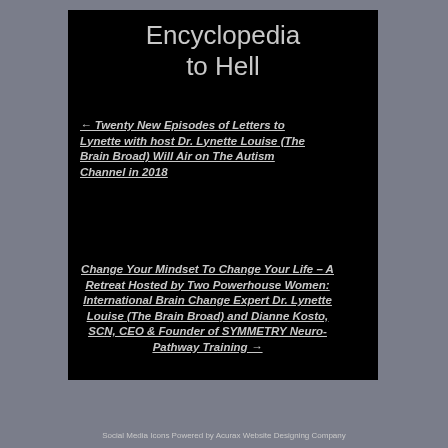Encyclopedia to Hell
← Twenty New Episodes of Letters to Lynette with host Dr. Lynette Louise (The Brain Broad) Will Air on The Autism Channel in 2018
Change Your Mindset To Change Your Life – A Retreat Hosted by Two Powerhouse Women: International Brain Change Expert Dr. Lynette Louise (The Brain Broad) and Dianne Kosto, SCN, CEO & Founder of SYMMETRY Neuro-Pathway Training →
Social Media Icons Powered by Acurax Website Designing Company